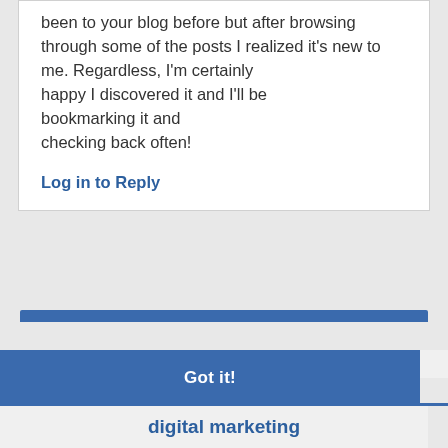been to your blog before but after browsing through some of the posts I realized it's new to me. Regardless, I'm certainly happy I discovered it and I'll be bookmarking it and checking back often!
Log in to Reply
This website uses cookies to ensure you get the best experience on our website.
Learn more
Got it!
digital marketing